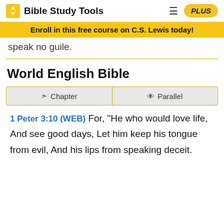Bible Study Tools | PLUS
Enroll in this free course on C.S. Lewis today!
speak no guile.
World English Bible
Chapter | Parallel
1 Peter 3:10 (WEB) For, "He who would love life, And see good days, Let him keep his tongue from evil, And his lips from speaking deceit.